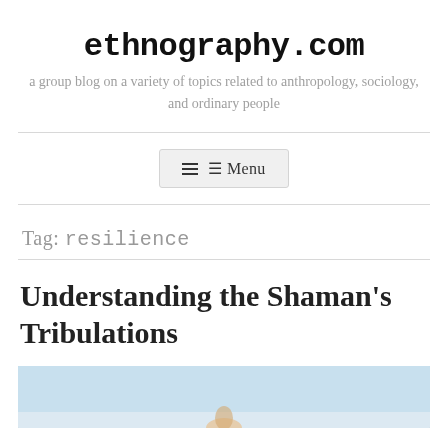ethnography.com
a group blog on a variety of topics related to anthropology, sociology, and ordinary people
Menu
Tag: resilience
Understanding the Shaman's Tribulations
[Figure (photo): Partial photo visible at bottom of page, appears to show a figure against a light blue sky background]